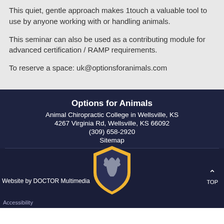This quiet, gentle approach makes 1touch a valuable tool to use by anyone working with or handling animals.
This seminar can also be used as a contributing module for advanced certification / RAMP requirements.
To reserve a space: uk@optionsforanimals.com
Options for Animals
Animal Chiropractic College in Wellsville, KS
4267 Virginia Rd, Wellsville, KS 66092
(309) 658-2920
Sitemap
[Figure (logo): Options for Animals shield logo with horse head silhouette in gold and grey]
Website by DOCTOR Multimedia
Accessibility